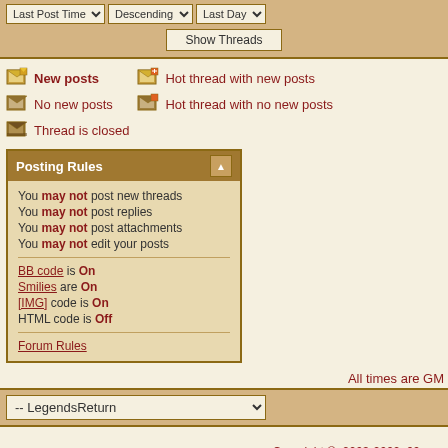[Figure (screenshot): Forum thread filter controls: Last Post Time dropdown, Descending dropdown, Last Day dropdown, and Show Threads button]
New posts
Hot thread with new posts
No new posts
Hot thread with no new posts
Thread is closed
Posting Rules
You may not post new threads
You may not post replies
You may not post attachments
You may not edit your posts
BB code is On
Smilies are On
[IMG] code is On
HTML code is Off
Forum Rules
All times are GM
-- LegendsReturn
Copyright © 2003-2022  99.com
About Us | Contact Us | Sign Up | Product FAQ | Us